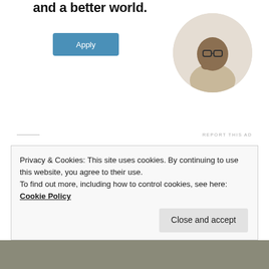and a better world.
[Figure (photo): Apply button (teal/blue) for an advertisement]
[Figure (photo): Circular photo of a man with glasses sitting at a desk, thinking]
REPORT THIS AD
Posted on July 28, 2017 by Stevie
Posted in All, Interviews
Tagged Education, Language, Linguistics, Social Science.
Leave a comment
7/18/17 Show feat. Betsy
Privacy & Cookies: This site uses cookies. By continuing to use this website, you agree to their use.
To find out more, including how to control cookies, see here: Cookie Policy
Close and accept